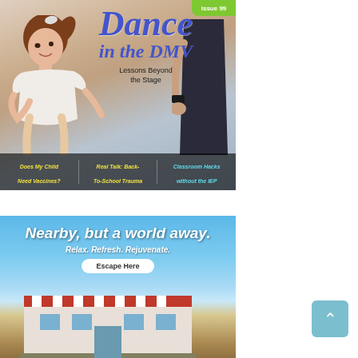[Figure (photo): Magazine cover showing a young girl in dance attire holding hands with an adult, with the title 'Dance in the DMV - Lessons Beyond the Stage'. Bottom strip shows article teasers: 'Does My Child Need Vaccines?', 'Real Talk: Back-To-School Trauma', 'Classroom Hacks without the IEP'.]
[Figure (photo): Advertisement banner with blue sky background showing a building/resort. Text reads 'Nearby, but a world away. Relax. Refresh. Rejuvenate.' with an 'Escape Here' button.]